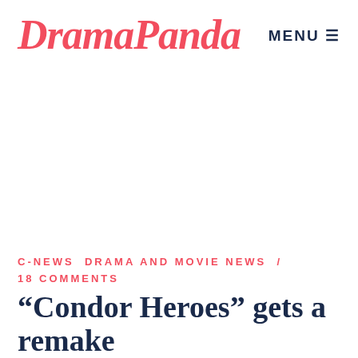DramaPanda
MENU ≡
C-NEWS  DRAMA AND MOVIE NEWS  /  18 COMMENTS
“Condor Heroes” gets a remake